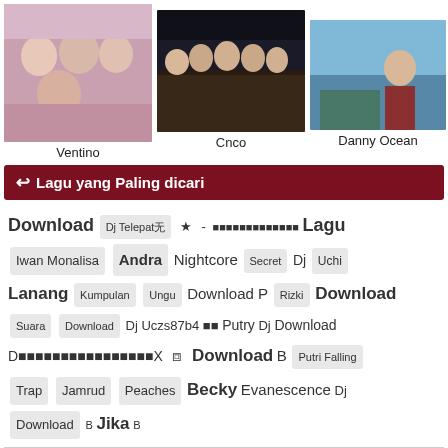[Figure (photo): Photo of Ventino female group]
[Figure (photo): Photo of Cnco male group in suits]
[Figure (photo): Photo of Danny Ocean at beach]
Ventino
Cnco
Danny Ocean
Lagu yang Paling dicari
Download Dj Telepat⧐ ★ - ⧐⧐⧐⧐⧐⧐⧐⧐⧐⧐⧐⧐⧐ Lagu Iwan Monalisa Andra Nightcore Secret Dj Uchi Lanang Kumpulan Ungu Download P Rizki Download Suara Download Dj Uczs87b4 ⧐⧐ Putry Dj Download D⧐⧐⧐⧐⧐⧐⧐⧐⧐⧐⧐⧐⧐⧐⧐⧐X ⧈ Download B Putri Falling Trap Jamrud Peaches Becky Evanescence Dj Download B Jika B
Masuk Download Lagu Mp3 Kami TIDAK mendukung pembajakan musik, karena itu di sini tidak di izinkan adanya lagu yang